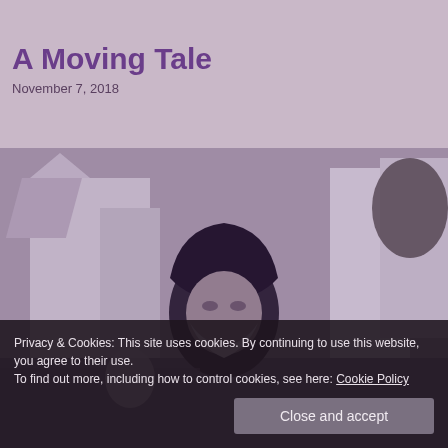A Moving Tale
November 7, 2018
[Figure (photo): Black and white photo of an elderly bearded man in a hoodie standing in an urban street setting with buildings in the background]
Privacy & Cookies: This site uses cookies. By continuing to use this website, you agree to their use.
To find out more, including how to control cookies, see here: Cookie Policy
Close and accept